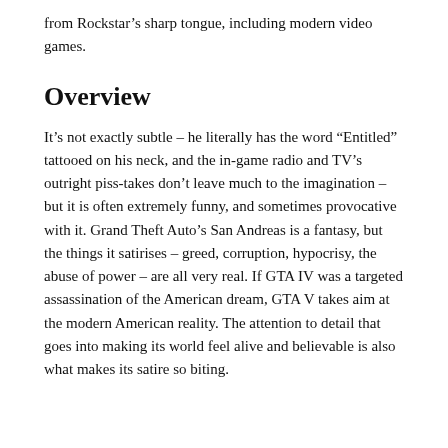from Rockstar’s sharp tongue, including modern video games.
Overview
It’s not exactly subtle – he literally has the word “Entitled” tattooed on his neck, and the in-game radio and TV’s outright piss-takes don’t leave much to the imagination – but it is often extremely funny, and sometimes provocative with it. Grand Theft Auto’s San Andreas is a fantasy, but the things it satirises – greed, corruption, hypocrisy, the abuse of power – are all very real. If GTA IV was a targeted assassination of the American dream, GTA V takes aim at the modern American reality. The attention to detail that goes into making its world feel alive and believable is also what makes its satire so biting.